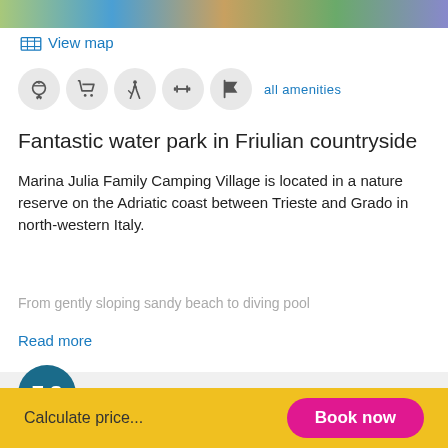[Figure (photo): Top image strip showing camping/nature scenes]
View map
[Figure (infographic): Row of 5 amenity icons (BBQ, shopping cart, hiking, gym equipment, flag) followed by 'all amenities' link]
Fantastic water park in Friulian countryside
Marina Julia Family Camping Village is located in a nature reserve on the Adriatic coast between Trieste and Grado in north-western Italy.
From gently sloping sandy beach to diving pool
Read more
Score from 18 reviews. All reviews
Calculate price...
Book now